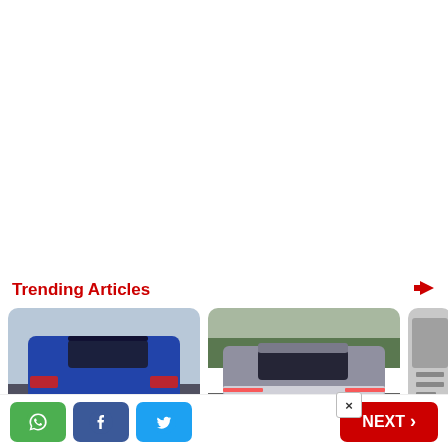Trending Articles
[Figure (photo): Rear view of a blue Hyundai SUV (Venue/Creta) on a road with cloudy sky background]
[Figure (photo): Rear three-quarter view of a silver/grey Hyundai IONIQ 5 electric vehicle driving on a road with green trees in background]
[Figure (photo): Partially visible third article image, appears to show an indoor/industrial scene]
[Figure (logo): WhatsApp share button (green)]
[Figure (logo): Facebook share button (blue)]
[Figure (logo): Twitter share button (light blue)]
NEXT >